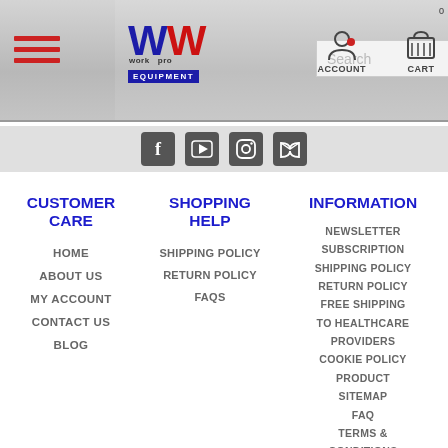[Figure (screenshot): Website header with hamburger menu, WW Work Pro Equipment logo, search bar, account and cart icons, and social media icon bar (Facebook, YouTube, Instagram, RSS)]
CUSTOMER CARE
HOME
ABOUT US
MY ACCOUNT
CONTACT US
BLOG
SHOPPING HELP
SHIPPING POLICY
RETURN POLICY
FAQS
INFORMATION
NEWSLETTER SUBSCRIPTION
SHIPPING POLICY
RETURN POLICY
FREE SHIPPING TO HEALTHCARE PROVIDERS
COOKIE POLICY
PRODUCT SITEMAP
FAQ
TERMS & CONDITIONS
PRIVACY POLICY
MY ACCOUNT